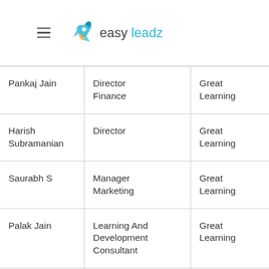easy leadz
| Name | Designation | Company | Email |
| --- | --- | --- | --- |
| Pankaj Jain | Director Finance | Great Learning | xxxx@g... |
| Harish Subramanian | Director | Great Learning | xxxx@g... |
| Saurabh S | Manager Marketing | Great Learning | xxxx@g... |
| Palak Jain | Learning And Development Consultant | Great Learning | xxxx@g... |
|  | Assistant |  |  |